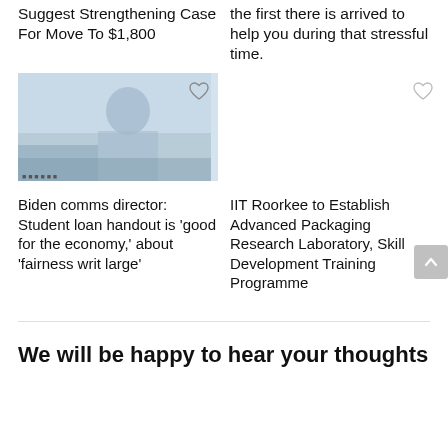Suggest Strengthening Case For Move To $1,800
the first there is arrived to help you during that stressful time.
[Figure (photo): Photo of a woman sitting at a desk in an office environment]
[Figure (other): Empty placeholder card with heart icon]
Biden comms director: Student loan handout is ‘good for the economy,’ about ‘fairness writ large’
IIT Roorkee to Establish Advanced Packaging Research Laboratory, Skill Development Training Programme
We will be happy to hear your thoughts